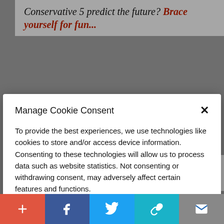Conservative 5 predict the future? Brace yourself for fun...
Manage Cookie Consent
To provide the best experiences, we use technologies like cookies to store and/or access device information. Consenting to these technologies will allow us to process data such as website statistics. Not consenting or withdrawing consent, may adversely affect certain features and functions.
Accept
Cookie Policy  Privacy Policy
The Uprising Listen Now